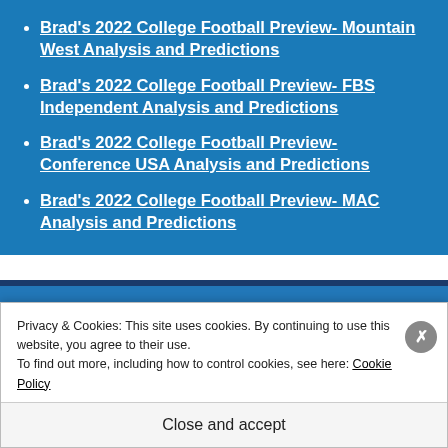Brad's 2022 College Football Preview- Mountain West Analysis and Predictions
Brad's 2022 College Football Preview- FBS Independent Analysis and Predictions
Brad's 2022 College Football Preview- Conference USA Analysis and Predictions
Brad's 2022 College Football Preview- MAC Analysis and Predictions
Privacy & Cookies: This site uses cookies. By continuing to use this website, you agree to their use.
To find out more, including how to control cookies, see here: Cookie Policy
Close and accept